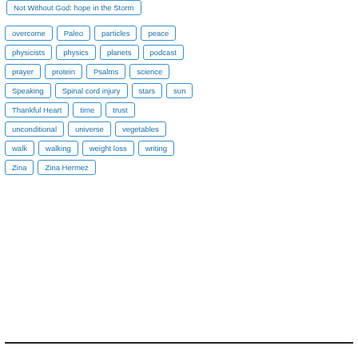Not Without God: hope in the Storm
overcome
Paleo
particles
peace
physicists
physics
planets
podcast
prayer
protein
Psalms
science
Speaking
Spinal cord injury
stars
sun
Thankful Heart
time
trust
unconditional
universe
vegetables
walk
walking
weight loss
writing
Zina
Zina Hermez